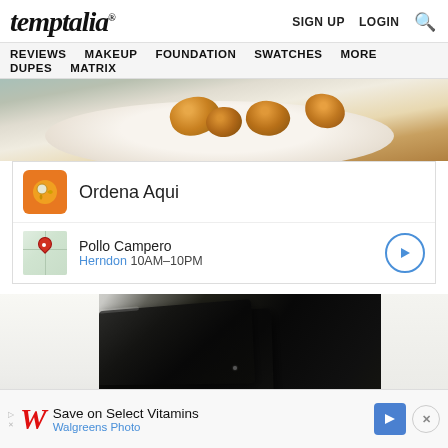temptalia® — SIGN UP LOGIN [Search]
REVIEWS  MAKEUP  FOUNDATION  SWATCHES  MORE  DUPES  MATRIX
[Figure (photo): Photo of fried chicken pieces on a white plate with a teal/grey cloth underneath]
[Figure (screenshot): Google ad card: Ordena Aqui with orange food delivery icon; Pollo Campero location card showing Herndon 10AM–10PM with map thumbnail and navigation arrow]
[Figure (photo): Close-up photo of a black compact/palette cosmetic product on a white surface]
[Figure (screenshot): Bottom advertisement banner: Walgreens Photo - Save on Select Vitamins with red W logo, navigation arrow, and X close button]